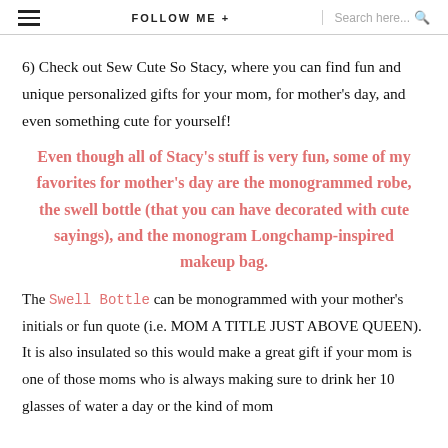≡   FOLLOW ME +   Search here...  🔍
6) Check out Sew Cute So Stacy, where you can find fun and unique personalized gifts for your mom, for mother's day, and even something cute for yourself!
Even though all of Stacy's stuff is very fun, some of my favorites for mother's day are the monogrammed robe, the swell bottle (that you can have decorated with cute sayings), and the monogram Longchamp-inspired makeup bag.
The Swell Bottle can be monogrammed with your mother's initials or fun quote (i.e. MOM A TITLE JUST ABOVE QUEEN). It is also insulated so this would make a great gift if your mom is one of those moms who is always making sure to drink her 10 glasses of water a day or the kind of mom